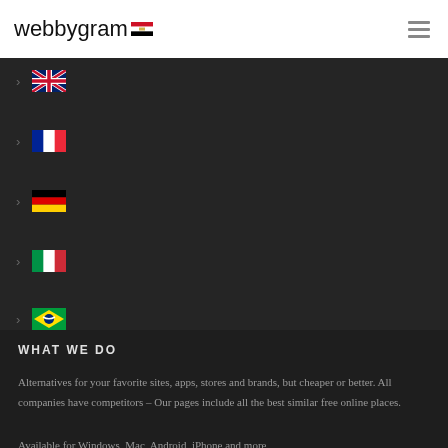webbygram
UK flag
France flag
Germany flag
Italy flag
Brazil flag
Spain flag
WHAT WE DO
Alternatives for your favorite sites, apps, stores and brands, but cheaper or better. All companies have competitors – Our pages include all the best similar free online places.
Available for Windows, Mac, Android, iPhone and more